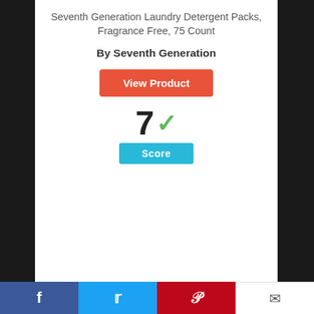Seventh Generation Laundry Detergent Packs, Fragrance Free, 75 Count
By Seventh Generation
View Product
7 ✓ Score
1. Biokleen Laundry Detergent Powder, Concentrated, Eco-Friendly, Non-Toxic, Plant-Based, No
Facebook | Twitter | Pinterest | Email